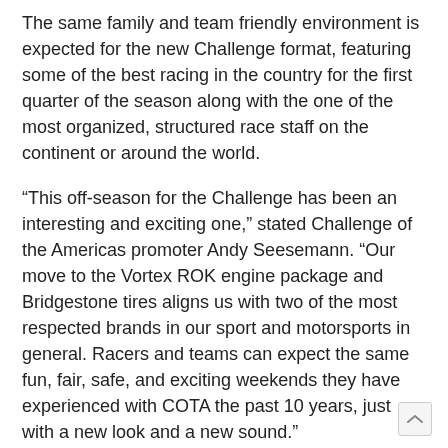The same family and team friendly environment is expected for the new Challenge format, featuring some of the best racing in the country for the first quarter of the season along with the one of the most organized, structured race staff on the continent or around the world.
“This off-season for the Challenge has been an interesting and exciting one,” stated Challenge of the Americas promoter Andy Seesemann. “Our move to the Vortex ROK engine package and Bridgestone tires aligns us with two of the most respected brands in our sport and motorsports in general. Racers and teams can expect the same fun, fair, safe, and exciting weekends they have experienced with COTA the past 10 years, just with a new look and a new sound.”
After 10 years utilizing the Rotax engine package, the Challenge of the Americas is set for the debut of the Vortex ROK powerplants. The ROK engine line offers the same age group packages with similar classes to be offered at the Challenge for 2018 as in previous years. The Mini ROK engine is aimed at the younger generation of kart drivers,